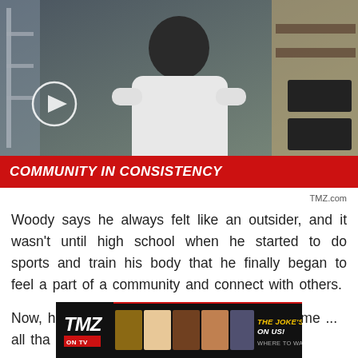[Figure (screenshot): Video thumbnail showing a person in a white hoodie in what appears to be a gym setting, with a circular play button overlay on the left side]
COMMUNITY IN CONSISTENCY
TMZ.com
Woody says he always felt like an outsider, and it wasn't until high school when he started to do sports and train his body that he finally began to feel a part of a community and connect with others.
Now, his mission is to help others feel the same ... all tha
[Figure (screenshot): TMZ ON TV advertisement banner showing TMZ logo, faces of show personalities, and text 'THE JOKE'S ON US! WHERE TO WATCH >']